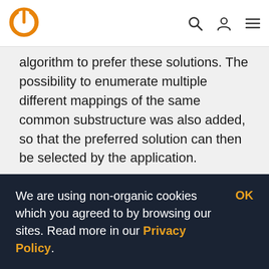[Navigation header with logo, search, user, and menu icons]
algorithm to prefer these solutions. The possibility to enumerate multiple different mappings of the same common substructure was also added, so that the preferred solution can then be selected by the application.
Multiple implementations of these algorithms have been developed and thoroughly tested and benchmarked. They have also been compared to publicly available solutions, and integrated into
We are using non-organic cookies which you agreed to by browsing our sites. Read more in our Privacy Policy.